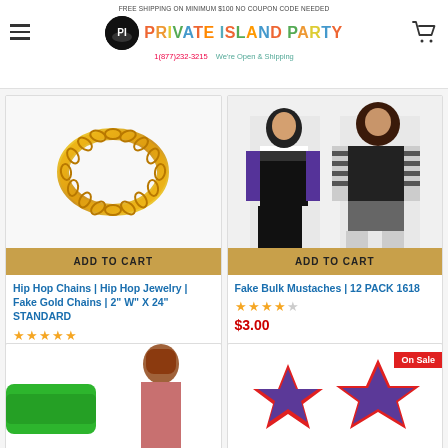FREE SHIPPING ON MINIMUM $100 NO COUPON CODE NEEDED | PRIVATE ISLAND PARTY | 1(877)232-3215 | We're Open & Shipping
[Figure (photo): Product listing page showing two product cards: (1) Hip Hop Chains gold necklace image with Add to Cart button, (2) Fake Bulk Mustaches showing two women in costume outfits with Add to Cart button. Below are two partial product cards partially visible.]
Hip Hop Chains | Hip Hop Jewelry | Fake Gold Chains | 2" W" X 24" STANDARD
★★★★★
$5.00
Fake Bulk Mustaches | 12 PACK 1618
★★★★☆
$3.00